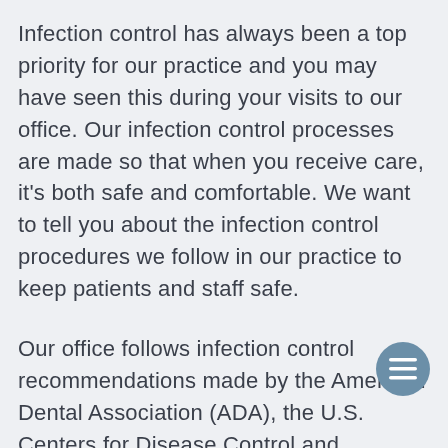Infection control has always been a top priority for our practice and you may have seen this during your visits to our office. Our infection control processes are made so that when you receive care, it's both safe and comfortable. We want to tell you about the infection control procedures we follow in our practice to keep patients and staff safe.
Our office follows infection control recommendations made by the American Dental Association (ADA), the U.S. Centers for Disease Control and Prevention (CDC) and the Occupational Safety and Health Administration (OSHA). We follow the activities of these agencies so that we are up-to-date on any new